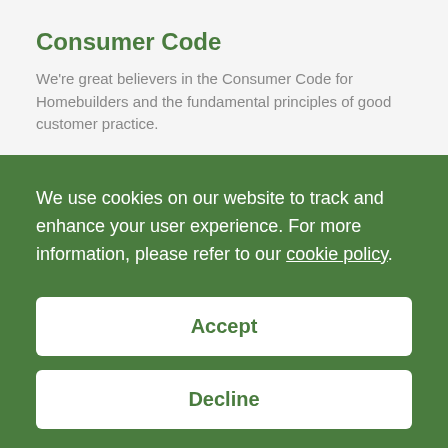Consumer Code
We're great believers in the Consumer Code for Homebuilders and the fundamental principles of good customer practice.
We use cookies on our website to track and enhance your user experience. For more information, please refer to our cookie policy.
Accept
Decline